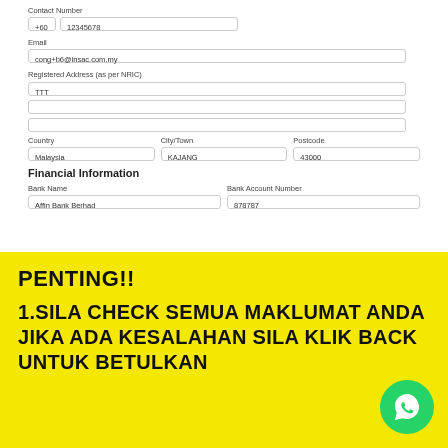Contact Number
+60   12345678
Email
cong+b6@insac.com.my
Registered Address (as per NRIC)
TTT
Country: Malaysia   City/Town: KAJANG   Postcode: 43000
Financial Information
Bank Name: Affin Bank Berhad   Bank Account Number: 878787
PENTING!!
1.SILA CHECK SEMUA MAKLUMAT ANDA JIKA ADA KESALAHAN SILA KLIK BACK UNTUK BETULKAN